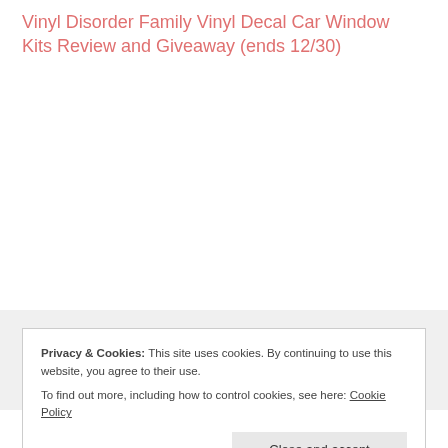Vinyl Disorder Family Vinyl Decal Car Window Kits Review and Giveaway (ends 12/30)
Privacy & Cookies: This site uses cookies. By continuing to use this website, you agree to their use. To find out more, including how to control cookies, see here: Cookie Policy